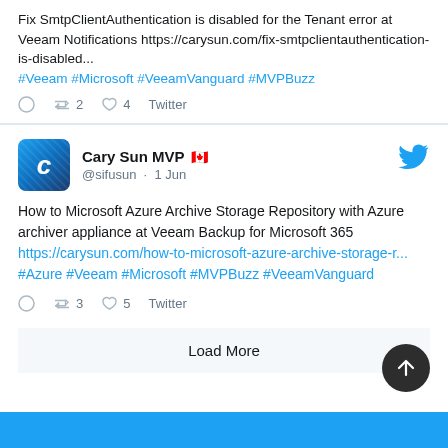Fix SmtpClientAuthentication is disabled for the Tenant error at Veeam Notifications https://carysun.com/fix-smtpclientauthentication-is-disabled... #Veeam #Microsoft #VeeamVanguard #MVPBuzz
retweet 2  like 4  Twitter
[Figure (photo): Twitter avatar for Cary Sun MVP — blue tiled/mosaic icon with letter C]
Cary Sun MVP 🇨🇦 @sifusun · 1 Jun
How to Microsoft Azure Archive Storage Repository with Azure archiver appliance at Veeam Backup for Microsoft 365 https://carysun.com/how-to-microsoft-azure-archive-storage-r... #Azure #Veeam #Microsoft #MVPBuzz #VeeamVanguard
retweet 3  like 5  Twitter
Load More